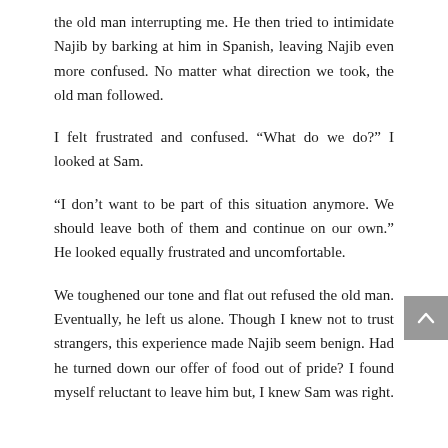the old man interrupting me. He then tried to intimidate Najib by barking at him in Spanish, leaving Najib even more confused. No matter what direction we took, the old man followed.
I felt frustrated and confused. “What do we do?” I looked at Sam.
“I don’t want to be part of this situation anymore. We should leave both of them and continue on our own.” He looked equally frustrated and uncomfortable.
We toughened our tone and flat out refused the old man. Eventually, he left us alone. Though I knew not to trust strangers, this experience made Najib seem benign. Had he turned down our offer of food out of pride? I found myself reluctant to leave him but, I knew Sam was right.